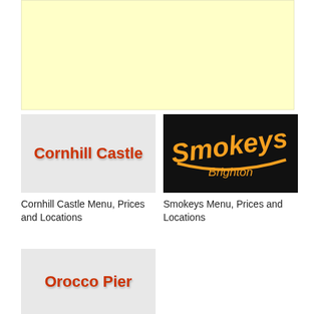[Figure (other): Yellow/cream colored advertisement banner placeholder]
[Figure (logo): Cornhill Castle text logo on light grey background in red/brown bold font]
Cornhill Castle Menu, Prices and Locations
[Figure (logo): Smokeys Brighton restaurant logo in orange script font on black background]
Smokeys Menu, Prices and Locations
[Figure (logo): Orocco Pier text logo on light grey background in orange/red bold font]